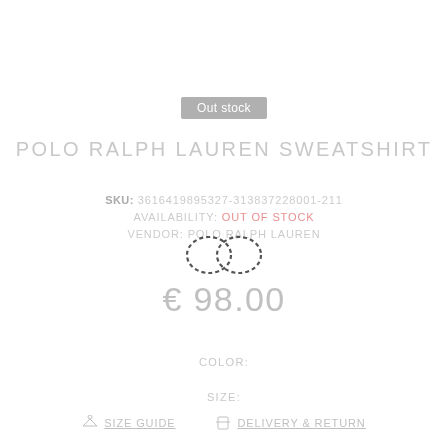Out stock
POLO RALPH LAUREN SWEATSHIRT
SKU: 3616419895327-313837228001-211
AVAILABILITY: Out of Stock
VENDOR: POLO RALPH LAUREN
€ 98.00
COLOR:
SIZE:
SIZE GUIDE   DELIVERY & RETURN